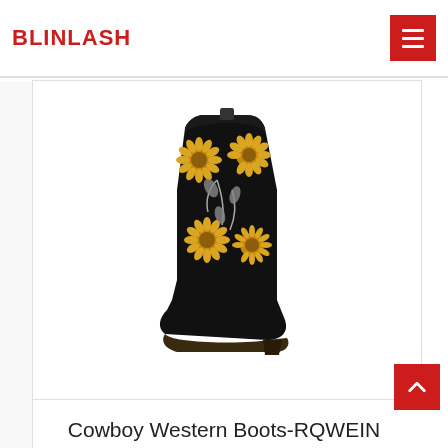BLINLASH
[Figure (photo): Black cowboy western boot with sunflower embroidery pattern on the shaft and toe area, mid-calf height, on white background]
Cowboy Western Boots-RQWEIN